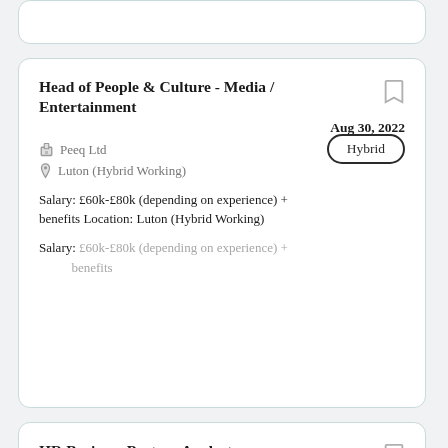Head of People & Culture - Media / Entertainment
Aug 30, 2022
Peeq Ltd
Luton (Hybrid Working)
Hybrid
Salary: £60k-£80k (depending on experience) + benefits Location: Luton (Hybrid Working)
Salary:  £60k-£80k (depending on experience) + benefits
HR Business Partner Analyst
Mar 08, 2022
Jefferies
London, UK
The HR Analyst will be responsible for delivering proactive and high quality HR support to the